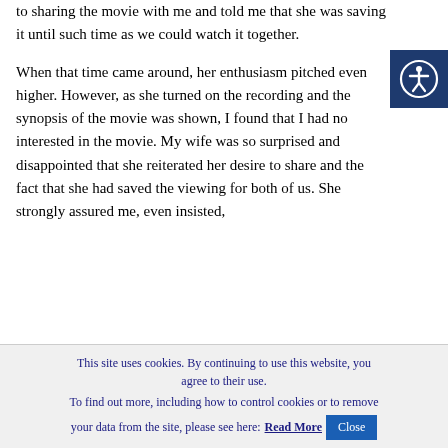to sharing the movie with me and told me that she was saving it until such time as we could watch it together.
When that time came around, her enthusiasm pitched even higher. However, as she turned on the recording and the synopsis of the movie was shown, I found that I had no interested in the movie. My wife was so surprised and disappointed that she reiterated her desire to share and the fact that she had saved the viewing for both of us. She strongly assured me, even insisted, that I would enjoy the movie if only I gave it a chance.
[Figure (other): Accessibility button icon — a circular icon with a person figure, on a dark navy blue square background, positioned at the top right of the page.]
This site uses cookies. By continuing to use this website, you agree to their use. To find out more, including how to control cookies or to remove your data from the site, please see here: Read More  Close